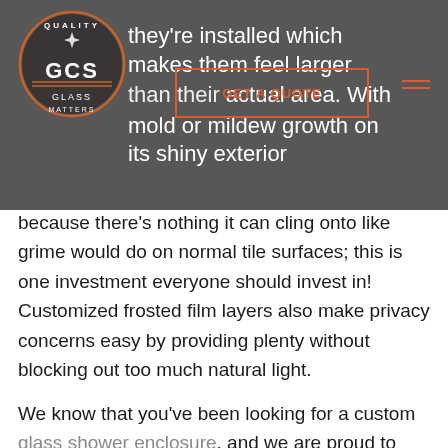[Figure (logo): GCS Glass Matters quality logo — circular orange/brown border with compass star, text 'QUALITY', 'GCS', 'GLASS', 'MATTERS']
they're installed which makes them feel larger than their actual area. With[GET A QUOTE]ace for mold or mildew growth on its shiny exterior because there's nothing it can cling onto like grime would do on normal tile surfaces; this is one investment everyone should invest in! Customized frosted film layers also make privacy concerns easy by providing plenty without blocking out too much natural light.
We know that you've been looking for a custom glass shower enclosure, and we are proud to offer them at GCS Glass And Mirror. With our expertise in the industry, there is no need to look any further than us. Whether it be traditional or